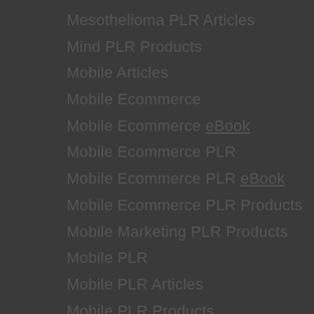Mesothelioma PLR Articles
Mind PLR Products
Mobile Articles
Mobile Ecommerce
Mobile Ecommerce eBook
Mobile Ecommerce PLR
Mobile Ecommerce PLR eBook
Mobile Ecommerce PLR Products
Mobile Marketing PLR Products
Mobile PLR
Mobile PLR Articles
Mobile PLR Products
Money Saving Articles
Money Saving PLR
Money Saving PLR Articles
Motivational PLR Products